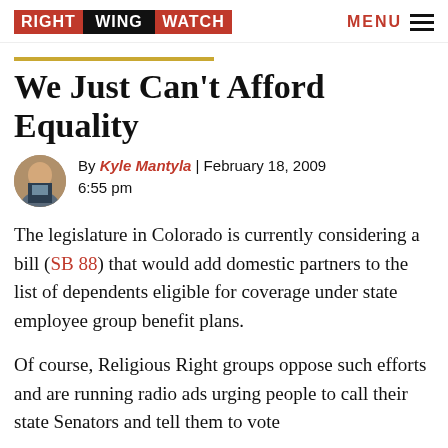RIGHT WING WATCH | MENU
We Just Can't Afford Equality
By Kyle Mantyla | February 18, 2009 6:55 pm
The legislature in Colorado is currently considering a bill (SB 88) that would add domestic partners to the list of dependents eligible for coverage under state employee group benefit plans.
Of course, Religious Right groups oppose such efforts and are running radio ads urging people to call their state Senators and tell them to vote